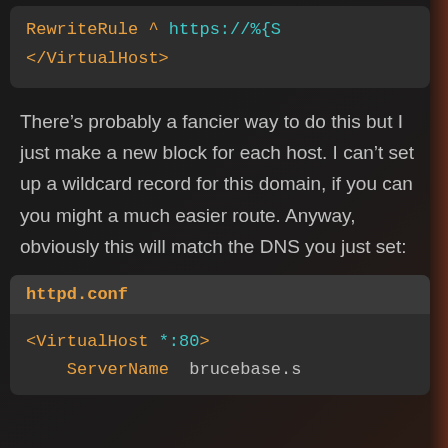[Figure (screenshot): Code block showing RewriteRule and closing VirtualHost tags in monospace font on dark background]
There's probably a fancier way to do this but I just make a new block for each host. I can't set up a wildcard record for this domain, if you can you might a much easier route. Anyway, obviously this will match the DNS you just set:
[Figure (screenshot): Code block with filename 'httpd.conf' showing VirtualHost *:80 and ServerName brucebase.s...]